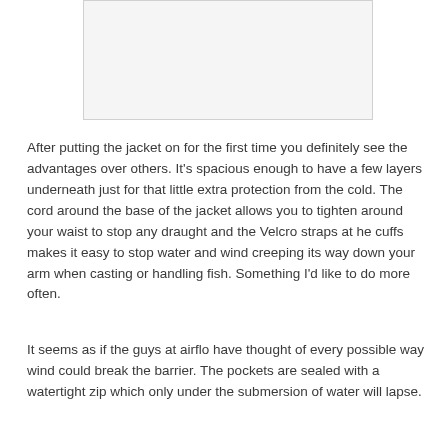[Figure (photo): Image placeholder at top of page, partially cropped]
After putting the jacket on for the first time you definitely see the advantages over others. It's spacious enough to have a few layers underneath just for that little extra protection from the cold. The cord around the base of the jacket allows you to tighten around your waist to stop any draught and the Velcro straps at he cuffs makes it easy to stop water and wind creeping its way down your arm when casting or handling fish. Something I'd like to do more often.
It seems as if the guys at airflo have thought of every possible way wind could break the barrier. The pockets are sealed with a watertight zip which only under the submersion of water will lapse.